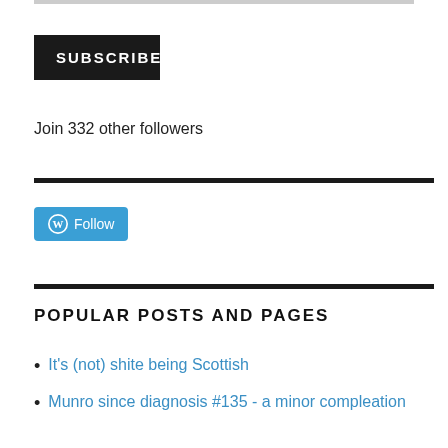[Figure (other): SUBSCRIBE button - black rectangle with white bold uppercase text]
Join 332 other followers
[Figure (other): WordPress Follow button - blue rounded rectangle with WordPress logo and Follow text]
POPULAR POSTS AND PAGES
It's (not) shite being Scottish
Munro since diagnosis #135 - a minor compleation